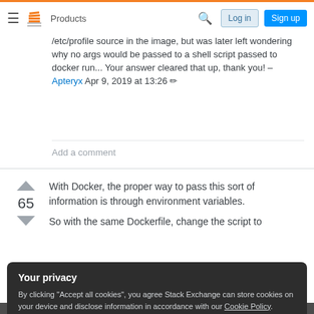Stack Overflow — Products | Log in | Sign up
/etc/profile source in the image, but was later left wondering why no args would be passed to a shell script passed to docker run... Your answer cleared that up, thank you! – Apteryx Apr 9, 2019 at 13:26
Add a comment
With Docker, the proper way to pass this sort of information is through environment variables.
So with the same Dockerfile, change the script to
Your privacy
By clicking "Accept all cookies", you agree Stack Exchange can store cookies on your device and disclose information in accordance with our Cookie Policy.
Accept all cookies
Customize settings